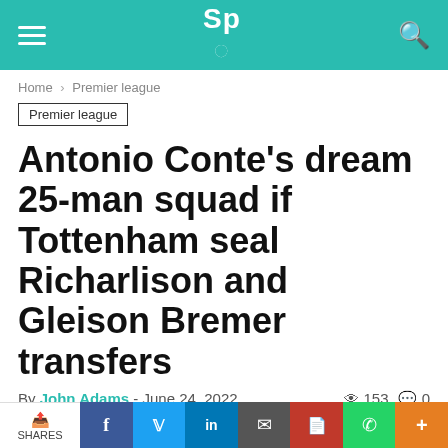24hrs Sport
Home › Premier league
Premier league
Antonio Conte's dream 25-man squad if Tottenham seal Richarlison and Gleison Bremer transfers
By John Adams - June 24, 2022 · 153 views · 0 comments
[Figure (other): Social share buttons: Facebook (blue), Twitter (light blue), Pinterest (red), WhatsApp (green)]
[Figure (photo): Partial image at bottom of page, dark background]
SHARES | Facebook | Twitter | LinkedIn | Email | PDF | WhatsApp | More